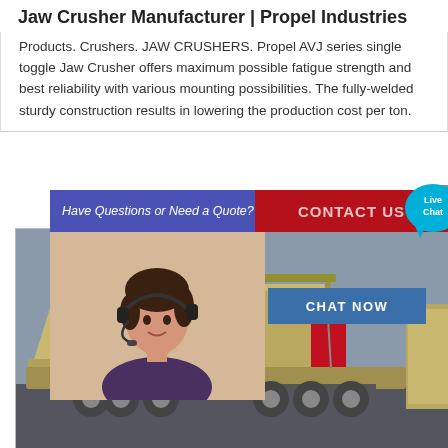Jaw Crusher Manufacturer | Propel Industries
Products. Crushers. JAW CRUSHERS. Propel AVJ series single toggle Jaw Crusher offers maximum possible fatigue strength and best reliability with various mounting possibilities. The fully-welded sturdy construction results in lowering the production cost per ton.
[Figure (screenshot): Chat widget overlay with 'Have Questions or Need a Quote?' banner in blue/purple, CONTACT US in red bar, and a Live Chat speech bubble icon on the right. A woman wearing a headset appears below the banner alongside a 'CHAT NOW' blue button.]
[Figure (photo): Photograph of Propel Industries jaw crusher machinery mounted on a trailer/truck, shown outdoors. The crusher is a large beige/tan colored industrial machine viewed from an angle showing its conveyor and main body.]